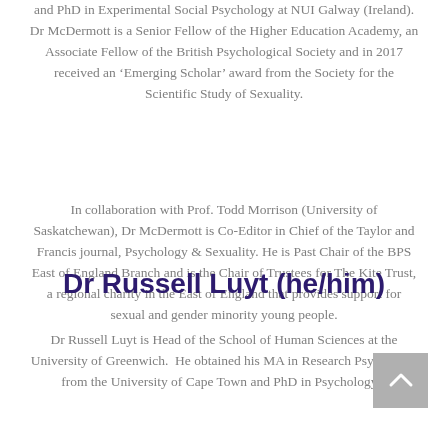and PhD in Experimental Social Psychology at NUI Galway (Ireland). Dr McDermott is a Senior Fellow of the Higher Education Academy, an Associate Fellow of the British Psychological Society and in 2017 received an ‘Emerging Scholar’ award from the Society for the Scientific Study of Sexuality.
In collaboration with Prof. Todd Morrison (University of Saskatchewan), Dr McDermott is Co-Editor in Chief of the Taylor and Francis journal, Psychology & Sexuality. He is Past Chair of the BPS East of England Branch and is the Chair of Trustees for The Kite Trust, a regional charity in the East of England that provides support for sexual and gender minority young people.
Dr Russell Luyt (he/him)
Dr Russell Luyt is Head of the School of Human Sciences at the University of Greenwich. He obtained his MA in Research Psychology from the University of Cape Town and PhD in Psychology...